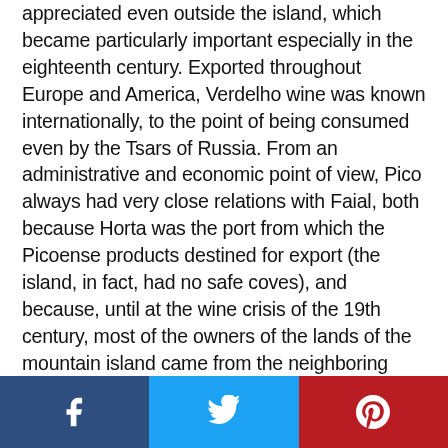appreciated even outside the island, which became particularly important especially in the eighteenth century. Exported throughout Europe and America, Verdelho wine was known internationally, to the point of being consumed even by the Tsars of Russia. From an administrative and economic point of view, Pico always had very close relations with Faial, both because Horta was the port from which the Picoense products destined for export (the island, in fact, had no safe coves), and because, until at the wine crisis of the 19th century, most of the owners of the lands of the mountain island came from the neighboring island. During the first quarter of the eighteenth century, important volcanic eruptions took place, a
[Figure (infographic): Social sharing bar with three buttons: Facebook (dark blue), Twitter (light blue), Pinterest (red), each with their respective icons]